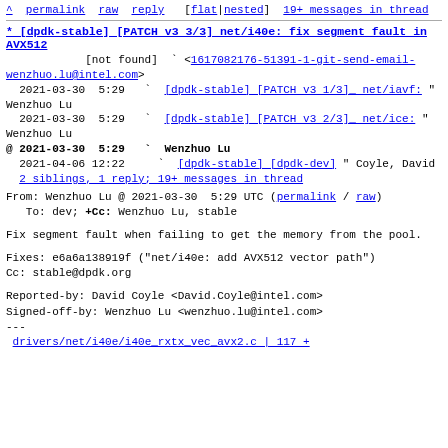^ permalink raw reply [ flat|nested ] 19+ messages in thread
* [dpdk-stable] [PATCH v3 3/3] net/i40e: fix segment fault in AVX512
[not found] ` <1617082176-51391-1-git-send-email-wenzhuo.lu@intel.com>
  2021-03-30  5:29  ` [dpdk-stable] [PATCH v3 1/3] net/iavf:  " Wenzhuo Lu
  2021-03-30  5:29  ` [dpdk-stable] [PATCH v3 2/3] net/ice:  " Wenzhuo Lu
@ 2021-03-30  5:29  ` Wenzhuo Lu
  2021-04-06 12:22    ` [dpdk-stable] [dpdk-dev]  " Coyle, David
  2 siblings, 1 reply; 19+ messages in thread
From: Wenzhuo Lu @ 2021-03-30  5:29 UTC (permalink / raw)
  To: dev; +Cc: Wenzhuo Lu, stable
Fix segment fault when failing to get the memory from the pool.
Fixes: e6a6a138919f ("net/i40e: add AVX512 vector path")
Cc: stable@dpdk.org
Reported-by: David Coyle <David.Coyle@intel.com>
Signed-off-by: Wenzhuo Lu <wenzhuo.lu@intel.com>
---
 drivers/net/i40e/i40e_rxtx_vec_avx2.c | 117 +